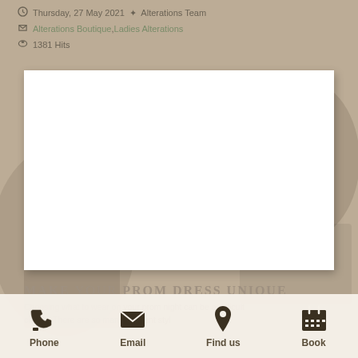Thursday, 27 May 2021 · Alterations Team
Alterations Boutique, Ladies Alterations
1381 Hits
[Figure (photo): White blank image placeholder inside a white box with shadow on a blurred background]
Make your Prom Dress Unique
Choosing what to wear on your prom night can be a difficult choice. There are so many different styles
Phone   Email   Find us   Book